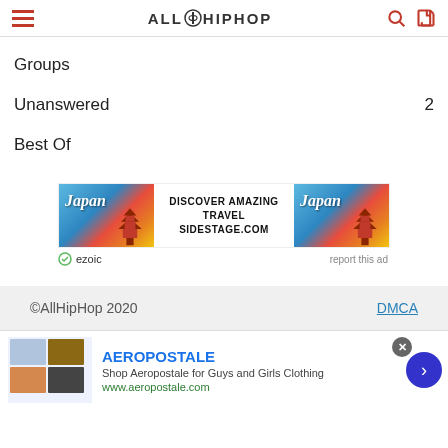AllHipHop navigation header
Groups
Unanswered  2
Best Of
[Figure (infographic): Advertisement banner for sidestage.com Japan travel featuring pagoda imagery. Text: DISCOVER AMAZING TRAVEL SIDESTAGE.COM. Ezoic logo bottom left. 'report this ad' bottom right.]
©AllHipHop 2020   DMCA
[Figure (infographic): Bottom advertisement for Aeropostale. Title: AEROPOSTALE. Desc: Shop Aeropostale for Guys and Girls Clothing. URL: www.aeropostale.com]